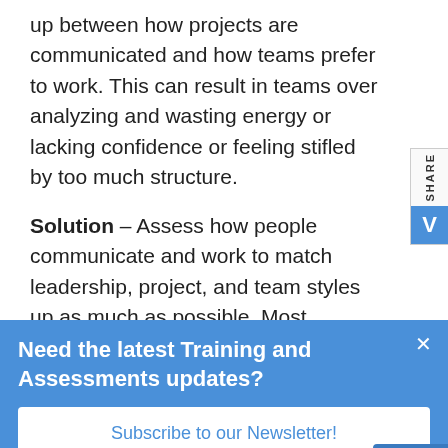up between how projects are communicated and how teams prefer to work. This can result in teams over analyzing and wasting energy or lacking confidence or feeling stifled by too much structure.
Solution – Assess how people communicate and work to match leadership, project, and team styles up as much as possible. Most organizations have space for every type of leader, assessing team types and matching leadership to that team is the best way to solve this issue.
Need the latest Training and Assessments updates?
Subscribe to our Newsletter!